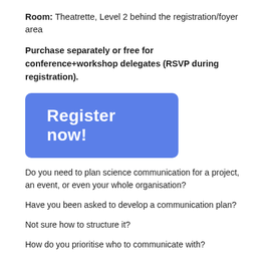Room: Theatrette, Level 2 behind the registration/foyer area
Purchase separately or free for conference+workshop delegates (RSVP during registration).
[Figure (other): Blue rounded rectangle button with white bold text reading 'Register now!']
Do you need to plan science communication for a project, an event, or even your whole organisation?
Have you been asked to develop a communication plan?
Not sure how to structure it?
How do you prioritise who to communicate with?